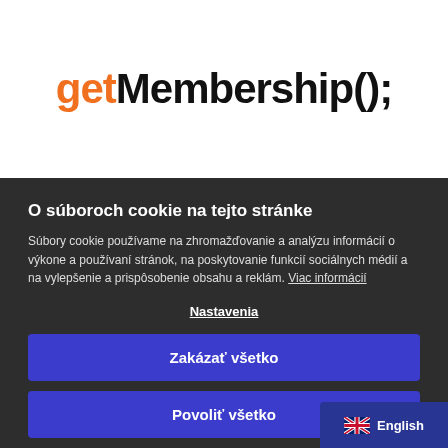getMembership();
O súboroch cookie na tejto stránke
Súbory cookie používame na zhromažďovanie a analýzu informácií o výkone a používaní stránok, na poskytovanie funkcií sociálnych médií a na vylepšenie a prispôsobenie obsahu a reklám. Viac informácií
Nastavenia
Zakázať všetko
Povoliť všetko
English